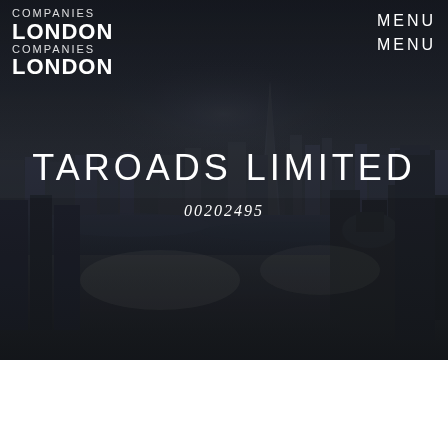[Figure (photo): Aerial photograph of London city skyline with river Thames, dark overlay. Navigation header with London Companies logo on left and MENU items on right. Company name TAROADS LIMITED and number 00202495 overlaid in center of image.]
TAROADS LIMITED
00202495